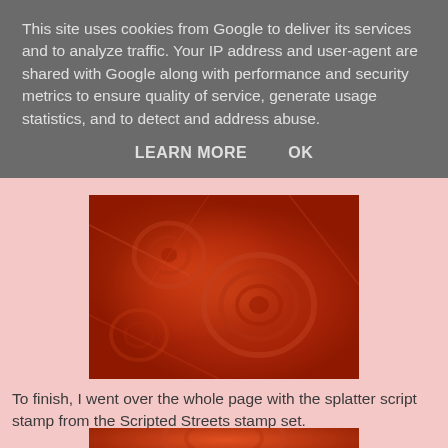This site uses cookies from Google to deliver its services and to analyze traffic. Your IP address and user-agent are shared with Google along with performance and security metrics to ensure quality of service, generate usage statistics, and to detect and address abuse.
LEARN MORE    OK
[Figure (photo): Close-up of a red and orange abstract textured artwork with swirling circular patterns, resembling rose or wood grain motifs on a warm red background.]
To finish, I went over the whole page with the splatter script stamp from the Scripted Streets stamp set.
[Figure (photo): Partial view of the same red abstract textured artwork, cropped at the bottom of the page.]